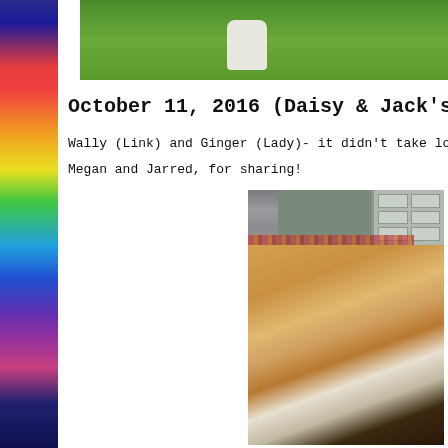[Figure (photo): Partial photo of a white dog on green grass, cropped at top of page, top-right area]
October 11, 2016 (Daisy & Jack's F1 and Maggie
Wally (Link) and Ginger (Lady)- it didn't take long for them to settle
Megan and Jarred, for sharing!
[Figure (photo): Photo of multiple golden/light brown dogs sleeping together on a rug in front of French doors]